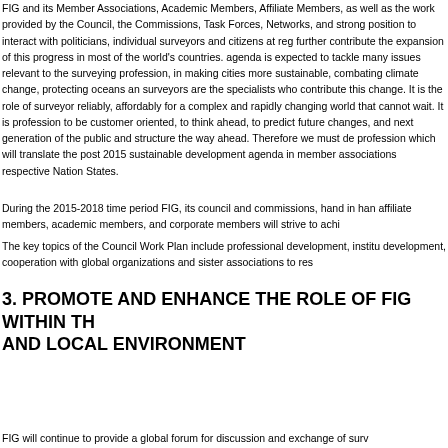FIG and its Member Associations, Academic Members, Affiliate Members, as well as the work provided by the Council, the Commissions, Task Forces, Networks, and strong position to interact with politicians, individual surveyors and citizens at reg further contribute the expansion of this progress in most of the world's countries. agenda is expected to tackle many issues relevant to the surveying profession, in making cities more sustainable, combating climate change, protecting oceans an surveyors are the specialists who contribute this change. It is the role of surveyor reliably, affordably for a complex and rapidly changing world that cannot wait. It is profession to be customer oriented, to think ahead, to predict future changes, and next generation of the public and structure the way ahead. Therefore we must de profession which will translate the post 2015 sustainable development agenda in member associations respective Nation States.
During the 2015-2018 time period FIG, its council and commissions, hand in han affiliate members, academic members, and corporate members will strive to achi
The key topics of the Council Work Plan include professional development, institu development, cooperation with global organizations and sister associations to res
3. PROMOTE AND ENHANCE THE ROLE OF FIG WITHIN TH AND LOCAL ENVIRONMENT
FIG will continue to provide a global forum for discussion and exchange of surv